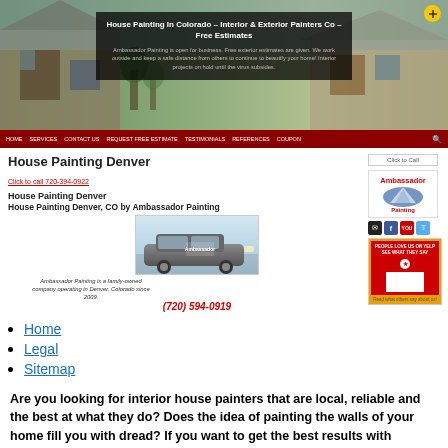[Figure (screenshot): Website hero banner showing a house photo with dark overlay containing site title and description about Ambassador Painting]
House Painting In Colorado – Interior & Exterior Painters Co – Free Estimates
Ambassador Painting is open for business. Free exterior estimates are given. We work outside and keep a safe distance from others to continue to beautify your home! Interior projects on hold until the virus subsides.
HOME  SERVICES  CONTACT US  REQUEST FREE ESTIMATE  TESTIMONIALS  REFERENCES  COUPON
House Painting Denver
Click to call 720-394-0922
House Painting Denver
House Painting Denver, CO by Ambassador Painting
[Figure (photo): Ambassador Painting company SUV/vehicle photo]
Ambassador Painting is a family-owned company operating in Denver, Colorado since 2009.
(720) 594-0919
Home
Legal
Sitemap
Are you looking for interior house painters that are local, reliable and the best at what they do? Does the idea of painting the walls of your home fill you with dread? If you want to get the best results with minimal